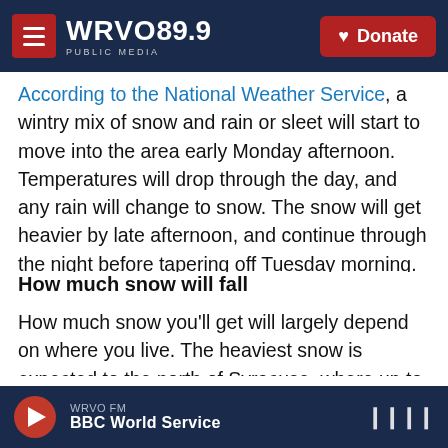WRVO 89.9 PUBLIC MEDIA — Donate
According to the National Weather Service, a wintry mix of snow and rain or sleet will start to move into the area early Monday afternoon. Temperatures will drop through the day, and any rain will change to snow. The snow will get heavier by late afternoon, and continue through the night before tapering off Tuesday morning.
How much snow will fall
How much snow you'll get will largely depend on where you live. The heaviest snow is expected to the north of Syracuse, where up to a foot of snow could fall by Tuesday morning. Areas along the Tug
WRVO FM — BBC World Service